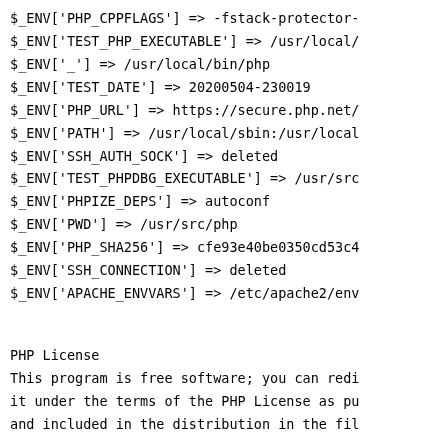$_ENV['PHP_CPPFLAGS'] => -fstack-protector-
$_ENV['TEST_PHP_EXECUTABLE'] => /usr/local/
$_ENV['_'] => /usr/local/bin/php
$_ENV['TEST_DATE'] => 20200504-230019
$_ENV['PHP_URL'] => https://secure.php.net/
$_ENV['PATH'] => /usr/local/sbin:/usr/local
$_ENV['SSH_AUTH_SOCK'] => deleted
$_ENV['TEST_PHPDBG_EXECUTABLE'] => /usr/src
$_ENV['PHPIZE_DEPS'] => autoconf
$_ENV['PWD'] => /usr/src/php
$_ENV['PHP_SHA256'] => cfe93e40be0350cd53c4
$_ENV['SSH_CONNECTION'] => deleted
$_ENV['APACHE_ENVVARS'] => /etc/apache2/env
PHP License
This program is free software; you can redi
it under the terms of the PHP License as pu
and included in the distribution in the fil